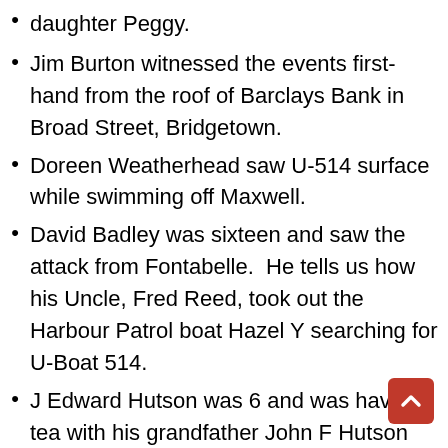daughter Peggy.
Jim Burton witnessed the events first-hand from the roof of Barclays Bank in Broad Street, Bridgetown.
Doreen Weatherhead saw U-514 surface while swimming off Maxwell.
David Badley was sixteen and saw the attack from Fontabelle.  He tells us how his Uncle, Fred Reed, took out the Harbour Patrol boat Hazel Y searching for U-Boat 514.
J Edward Hutson was 6 and was having tea with his grandfather John F Hutson Belleville.